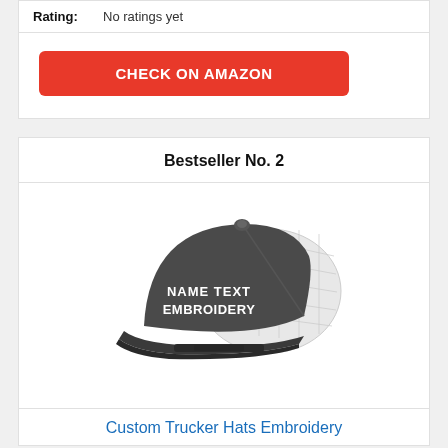Rating: No ratings yet
[Figure (other): Red button labeled CHECK ON AMAZON]
Bestseller No. 2
[Figure (photo): Photo of a dark grey and white trucker snapback hat with white embroidered text reading NAME TEXT EMBROIDERY on the front panel]
Custom Trucker Hats Embroidery